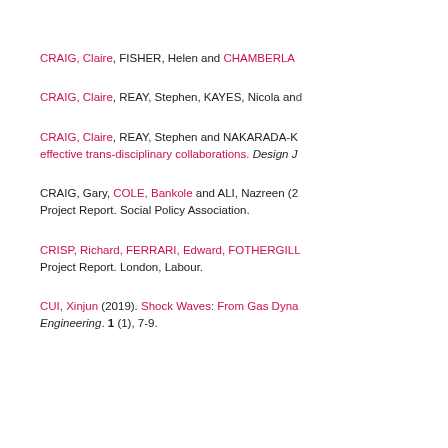CRAIG, Claire, FISHER, Helen and CHAMBERLA... [truncated by page edge]
CRAIG, Claire, REAY, Stephen, KAYES, Nicola and... [truncated by page edge]
CRAIG, Claire, REAY, Stephen and NAKARADA-K... effective trans-disciplinary collaborations. Design J...
CRAIG, Gary, COLE, Bankole and ALI, Nazreen (2... Project Report. Social Policy Association.
CRISP, Richard, FERRARI, Edward, FOTHERGILL... Project Report. London, Labour.
CUI, Xinjun (2019). Shock Waves: From Gas Dyna... Engineering. 1 (1), 7-9.